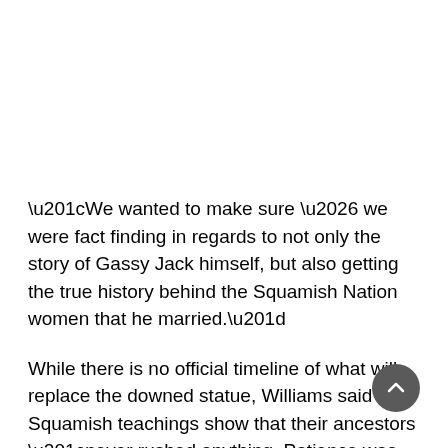“We wanted to make sure … we were fact finding in regards to not only the story of Gassy Jack himself, but also getting the true history behind the Squamish Nation women that he married.”
While there is no official timeline of what will replace the downed statue, Williams said Squamish teachings show that their ancestors “never rushed anything. Patience was ultimately the virtue here.”